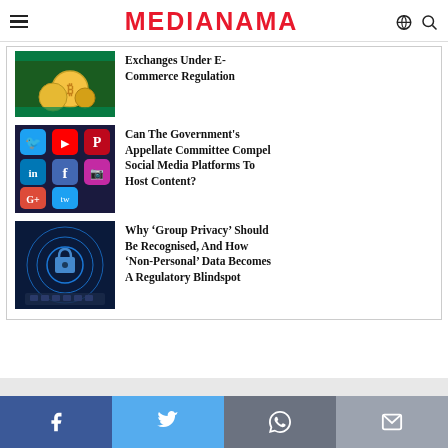MEDIANAMA
[Figure (screenshot): Thumbnail image of cryptocurrency coins with Bitcoin symbol on Nigerian flag background]
Exchanges Under E-Commerce Regulation
[Figure (screenshot): Thumbnail image of social media app icons including LinkedIn, YouTube, Facebook, Google+, Twitter, Pinterest on a dark background]
Can The Government's Appellate Committee Compel Social Media Platforms To Host Content?
[Figure (screenshot): Thumbnail image of a digital padlock/security concept with circular data patterns and hands on keyboard]
Why 'Group Privacy' Should Be Recognised, And How 'Non-Personal' Data Becomes A Regulatory Blindspot
Facebook | Twitter | WhatsApp | Email share buttons